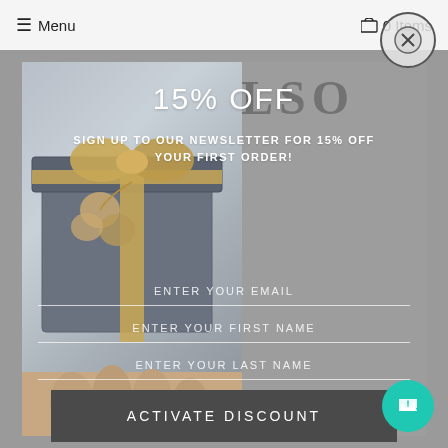≡ Menu   🛒 0 Items
WE ALSO
15% OFF
SIGN UP TO OUR NEWSLETTER FOR 15% OFF YOUR FIRST ORDER!
ENTER YOUR EMAIL
ENTER YOUR FIRST NAME
ENTER YOUR LAST NAME
ACTIVATE DISCOUNT
Powered by omnisend